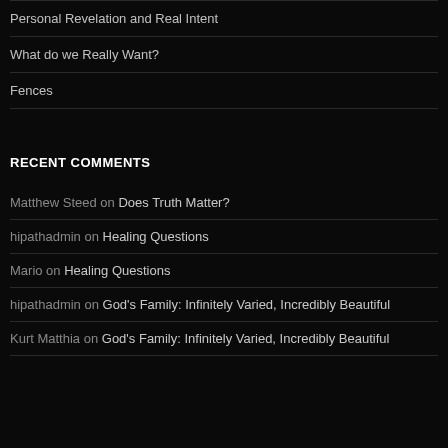Personal Revelation and Real Intent
What do we Really Want?
Fences
RECENT COMMENTS
Matthew Steed on Does Truth Matter?
hipathadmin on Healing Questions
Mario on Healing Questions
hipathadmin on God's Family: Infinitely Varied, Incredibly Beautiful
Kurt Matthia on God's Family: Infinitely Varied, Incredibly Beautiful